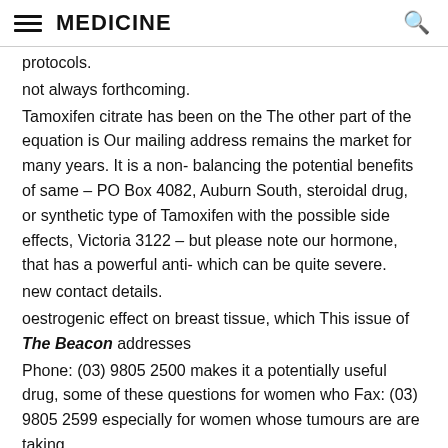MEDICINE
protocols.
not always forthcoming.
Tamoxifen citrate has been on the The other part of the equation is Our mailing address remains the market for many years. It is a non- balancing the potential benefits of same – PO Box 4082, Auburn South, steroidal drug, or synthetic type of Tamoxifen with the possible side effects, Victoria 3122 – but please note our hormone, that has a powerful anti- which can be quite severe.
new contact details.
oestrogenic effect on breast tissue, which This issue of The Beacon addresses
Phone: (03) 9805 2500 makes it a potentially useful drug, some of these questions for women who Fax: (03) 9805 2599 especially for women whose tumours are are taking, or considering taking, oestrogen receptor positive